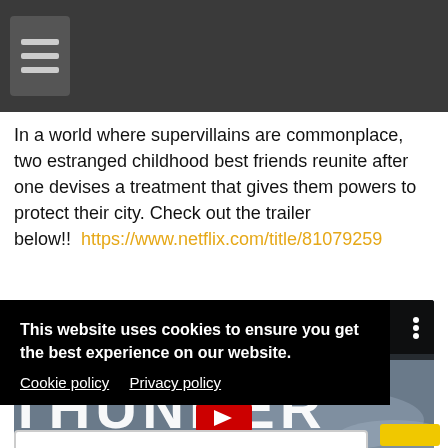Navigation menu (hamburger icon)
In a world where supervillains are commonplace, two estranged childhood best friends reunite after one devises a treatment that gives them powers to protect their city. Check out the trailer below!!  https://www.netflix.com/title/81079259
[Figure (screenshot): YouTube-style embedded video thumbnail showing 'Thunder Force (Official Lyric Video)' with large white THUNDER text on dark background with avatar icon and three-dot menu]
This website uses cookies to ensure you get the best experience on our website. Cookie policy  Privacy policy
Got it!